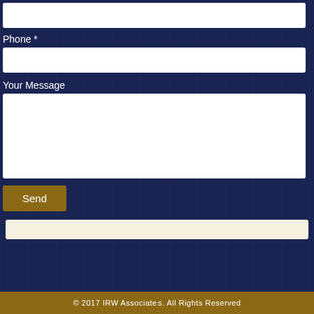[Figure (screenshot): Contact form on dark navy blue background with semi-transparent overlay, showing form fields for Phone and Your Message, a Send button, a notification bar, and a footer.]
Phone *
Your Message
Send
© 2017 IRW Associates. All Rights Reserved